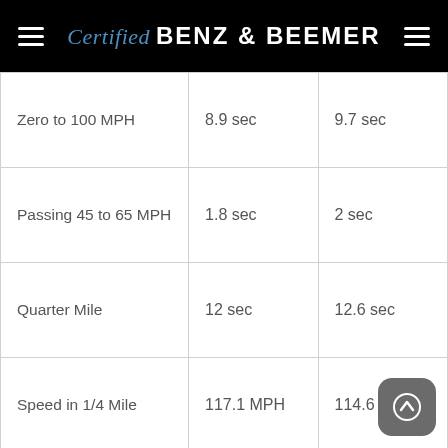Certified BENZ & BEEMER
|  | Col1 | Col2 |
| --- | --- | --- |
| Zero to 100 MPH | 8.9 sec | 9.7 sec |
| Passing 45 to 65 MPH | 1.8 sec | 2 sec |
| Quarter Mile | 12 sec | 12.6 sec |
| Speed in 1/4 Mile | 117.1 MPH | 114.6 MPH |